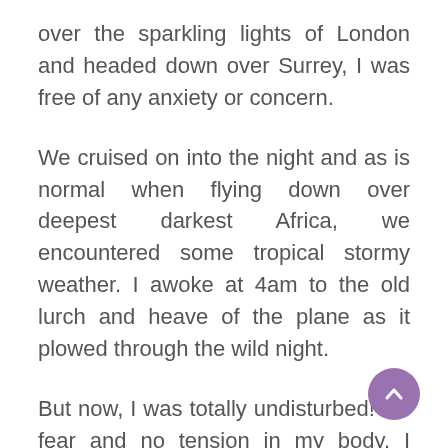over the sparkling lights of London and headed down over Surrey, I was free of any anxiety or concern.
We cruised on into the night and as is normal when flying down over deepest darkest Africa, we encountered some tropical stormy weather. I awoke at 4am to the old lurch and heave of the plane as it plowed through the wild night.
But now, I was totally undisturbed! No fear and no tension in my body. I visualized the plane bouncing over the clouds like a bus on a bumpy ro... feeling the speed of the plane adjusting